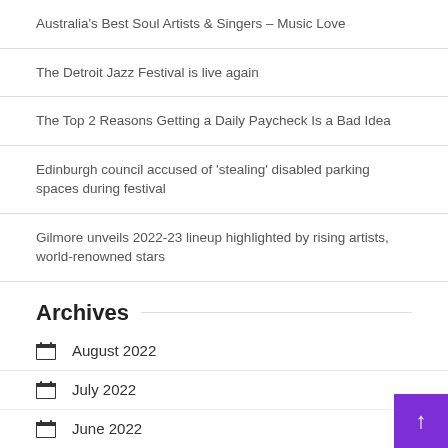Australia's Best Soul Artists & Singers – Music Love
The Detroit Jazz Festival is live again
The Top 2 Reasons Getting a Daily Paycheck Is a Bad Idea
Edinburgh council accused of 'stealing' disabled parking spaces during festival
Gilmore unveils 2022-23 lineup highlighted by rising artists, world-renowned stars
Archives
August 2022
July 2022
June 2022